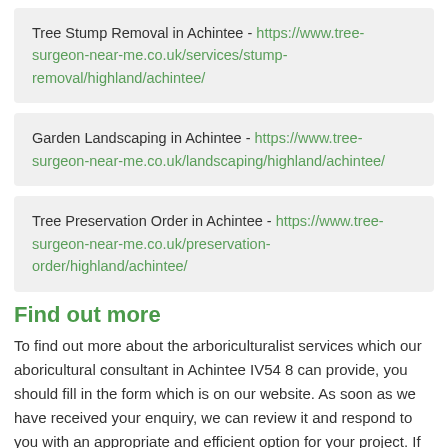Tree Stump Removal in Achintee - https://www.tree-surgeon-near-me.co.uk/services/stump-removal/highland/achintee/
Garden Landscaping in Achintee - https://www.tree-surgeon-near-me.co.uk/landscaping/highland/achintee/
Tree Preservation Order in Achintee - https://www.tree-surgeon-near-me.co.uk/preservation-order/highland/achintee/
Find out more
To find out more about the arboriculturalist services which our aboricultural consultant in Achintee IV54 8 can provide, you should fill in the form which is on our website. As soon as we have received your enquiry, we can review it and respond to you with an appropriate and efficient option for your project. If you enter as much information as you can about the aboricultural service which you need, this will help our team decide the best type of service or maintenance which is needed. We appreciate that you have taken